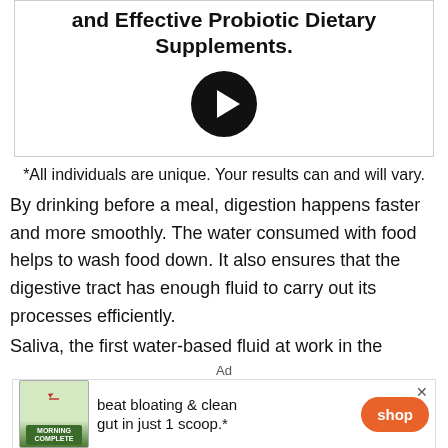[Figure (other): Promotional box with bold title text about Probiotic Dietary Supplements and a circular arrow/play button]
*All individuals are unique. Your results can and will vary.
By drinking before a meal, digestion happens faster and more smoothly. The water consumed with food helps to wash food down. It also ensures that the digestive tract has enough fluid to carry out its processes efficiently.
Saliva, the first water-based fluid at work in the
Ad
[Figure (photo): Advertisement banner: Morning Complete supplement jar, text 'beat bloating & clean gut in just 1 scoop.*', orange Shop button, close X]